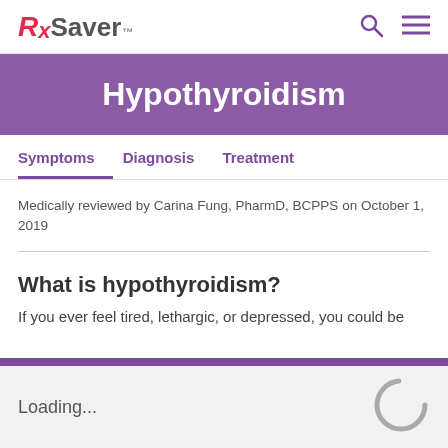RxSaver™
Hypothyroidism
Symptoms | Diagnosis | Treatment
Medically reviewed by Carina Fung, PharmD, BCPPS on October 1, 2019
What is hypothyroidism?
If you ever feel tired, lethargic, or depressed, you could be
Loading...